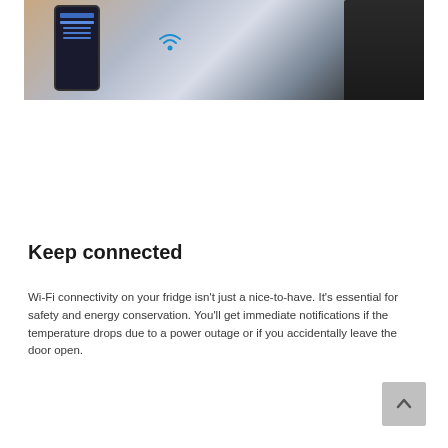[Figure (photo): A hand holding a smartphone displaying a smart home app, with a smart refrigerator and kitchen visible in the background.]
Keep connected
Wi-Fi connectivity on your fridge isn't just a nice-to-have. It's essential for safety and energy conservation. You'll get immediate notifications if the temperature drops due to a power outage or if you accidentally leave the door open.